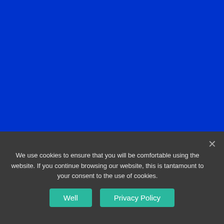Language
English
Fast menu
Shop
We use cookies to ensure that you will be comfortable using the website. If you continue browsing our website, this is tantamount to your consent to the use of cookies.
Well
Privacy Policy